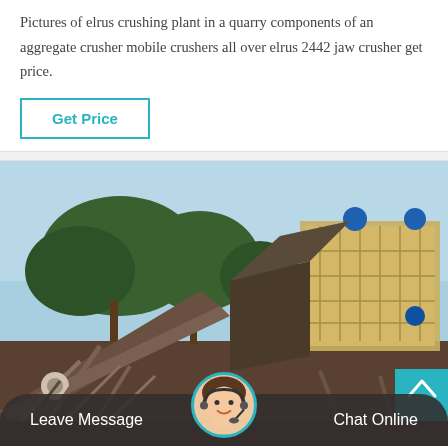Pictures of elrus crushing plant in a quarry components of an aggregate crusher mobile crushers all over elrus 2442 jaw crusher get price.
Get Price
[Figure (photo): Photograph of an elrus crushing plant at a quarry, showing conveyor belts, metal framework, industrial screening equipment, trees in background under a blue sky. Bottom bar shows 'Leave Message' on the left, a customer service avatar in the center, and 'Chat Online' on the right.]